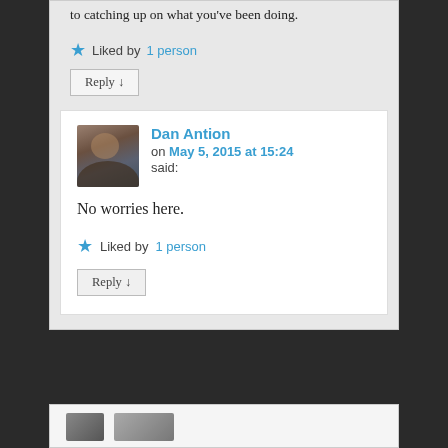to catching up on what you've been doing.
★ Liked by 1 person
Reply ↓
Dan Antion on May 5, 2015 at 15:24 said:
No worries here.
★ Liked by 1 person
Reply ↓